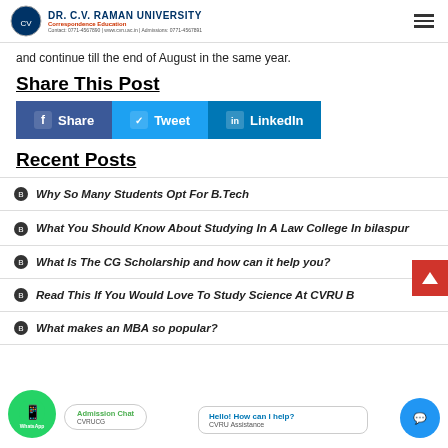DR. C.V. RAMAN UNIVERSITY
and continue till the end of August in the same year.
Share This Post
[Figure (infographic): Social share buttons: Facebook Share, Twitter Tweet, LinkedIn LinkedIn]
Recent Posts
Why So Many Students Opt For B.Tech
What You Should Know About Studying In A Law College In bilaspur
What Is The CG Scholarship and how can it help you?
Read This If You Would Love To Study Science At CVRU Bilaspur
What makes an MBA so popular?